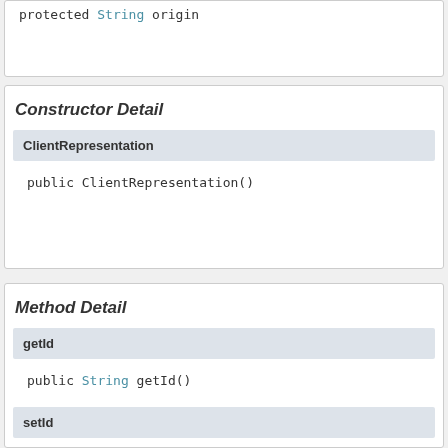protected String origin
Constructor Detail
ClientRepresentation
public ClientRepresentation()
Method Detail
getId
public String getId()
setId